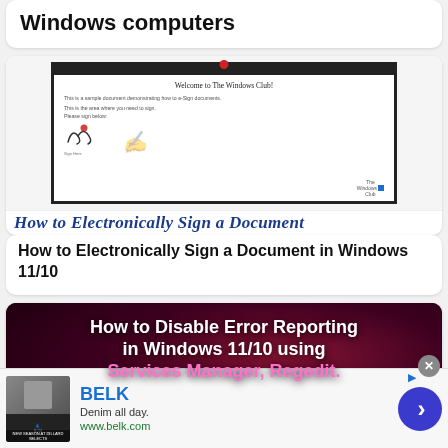Windows computers
[Figure (screenshot): Screenshot of a document with 'Welcome to The Windows Club!' heading and e-signature demonstration, showing a signature area with 'Please sign below' and a handwritten signature sample, plus The Windows Club logo]
How to Electronically Sign a Document
How to Electronically Sign a Document in Windows 11/10
[Figure (screenshot): Dark background image with text: How to Disable Error Reporting in Windows 11/10 using Services Manager, Regedit.]
BELK
Denim all day.
www.belk.com